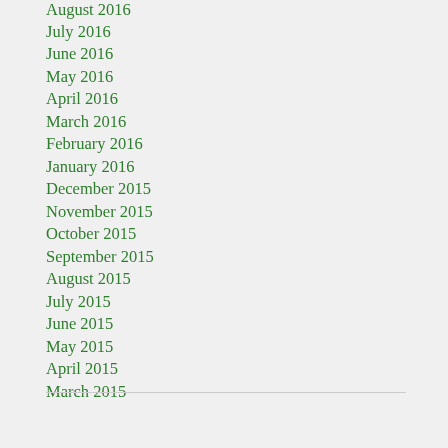August 2016
July 2016
June 2016
May 2016
April 2016
March 2016
February 2016
January 2016
December 2015
November 2015
October 2015
September 2015
August 2015
July 2015
June 2015
May 2015
April 2015
March 2015